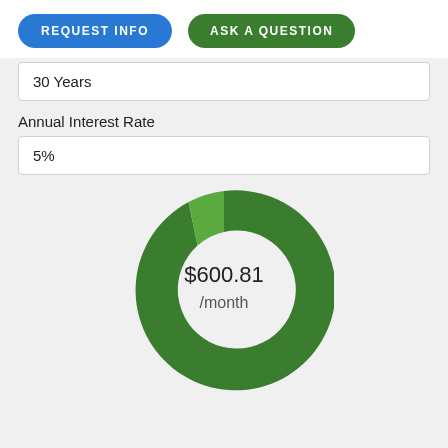REQUEST INFO
ASK A QUESTION
30 Years
Annual Interest Rate
5%
[Figure (donut-chart): $600.81 /month]